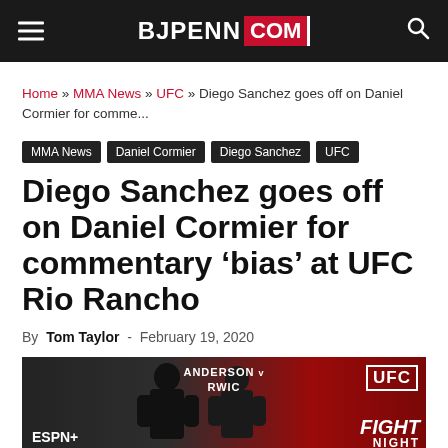BJPENN.COM
Home » MMA News » UFC » Diego Sanchez goes off on Daniel Cormier for comme...
MMA News
Daniel Cormier
Diego Sanchez
UFC
Diego Sanchez goes off on Daniel Cormier for commentary 'bias' at UFC Rio Rancho
By Tom Taylor - February 19, 2020
[Figure (photo): Two fighters at a UFC Fight Night event face-off, with ESPN+ and UFC FIGHT NIGHT branding visible in the background. Text showing ANDERSON and SAWIC(K) visible on the backdrop.]